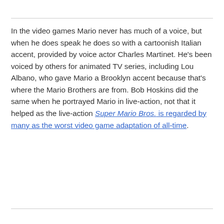In the video games Mario never has much of a voice, but when he does speak he does so with a cartoonish Italian accent, provided by voice actor Charles Martinet. He's been voiced by others for animated TV series, including Lou Albano, who gave Mario a Brooklyn accent because that's where the Mario Brothers are from. Bob Hoskins did the same when he portrayed Mario in live-action, not that it helped as the live-action Super Mario Bros. is regarded by many as the worst video game adaptation of all-time.